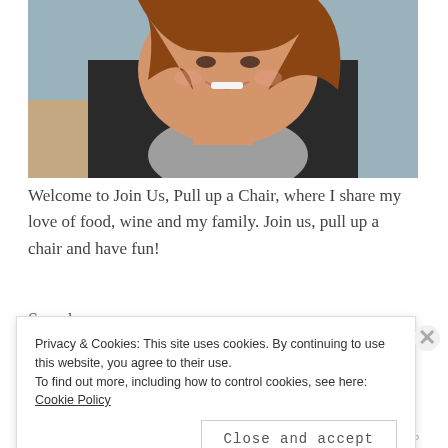[Figure (photo): A smiling woman with reddish-brown hair wearing a black cardigan over a gray shirt, photographed from above in a casual indoor setting.]
Welcome to Join Us, Pull up a Chair, where I share my love of food, wine and my family. Join us, pull up a chair and have fun!
Search
Privacy & Cookies: This site uses cookies. By continuing to use this website, you agree to their use.
To find out more, including how to control cookies, see here: Cookie Policy
Close and accept